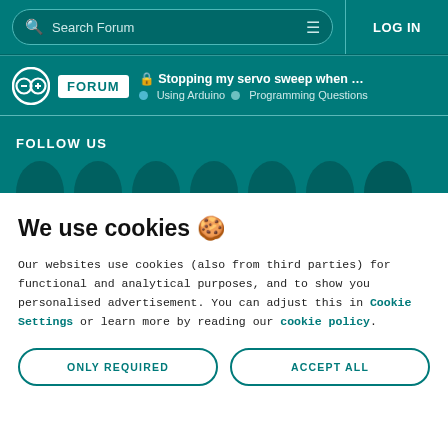Search Forum | LOG IN
Stopping my servo sweep when ultrasonI... | Using Arduino | Programming Questions
FOLLOW US
We use cookies 🍪
Our websites use cookies (also from third parties) for functional and analytical purposes, and to show you personalised advertisement. You can adjust this in Cookie Settings or learn more by reading our cookie policy.
ONLY REQUIRED | ACCEPT ALL